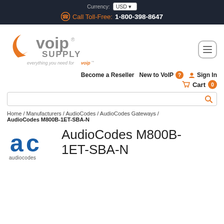Currency: USD | Call Toll-Free: 1-800-398-8647
[Figure (logo): VoIP Supply logo with orange arrow/crescent and text 'everything you need for voip']
Become a Reseller   New to VoIP   Sign In   Cart 0
Search bar
Home / Manufacturers / AudioCodes / AudioCodes Gateways / AudioCodes M800B-1ET-SBA-N
AudioCodes M800B-1ET-SBA-N
[Figure (logo): AudioCodes logo — blue 'ac' letters with 'audiocodes' text below]